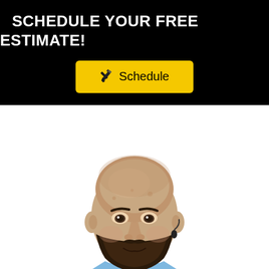SCHEDULE YOUR FREE ESTIMATE!
[Figure (other): Yellow 'Schedule' button with pencil icon on black background]
[Figure (photo): A bald man with a dark beard, wearing a light blue button-up shirt, smiling slightly against a white background]